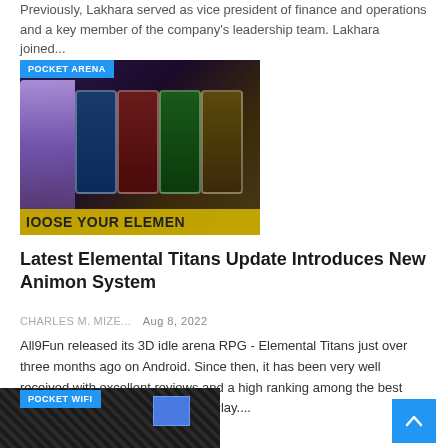Previously, Lakhara served as vice president of finance and operations and a key member of the company's leadership team. Lakhara joined...
[Figure (photo): Pocket Arena game banner showing fantasy characters and elemental cards with text 'CHOOSE YOUR ELEMENT']
Latest Elemental Titans Update Introduces New Animon System
CHARLES M. MIZE...   Aug 8, 2022
All9Fun released its 3D idle arena RPG - Elemental Titans just over three months ago on Android. Since then, it has been very well received with excellent reviews and a high ranking among the best games recommended by Google Play....
[Figure (photo): Pocket WiFi device showing a dark textured router/modem with a blue screen on it]